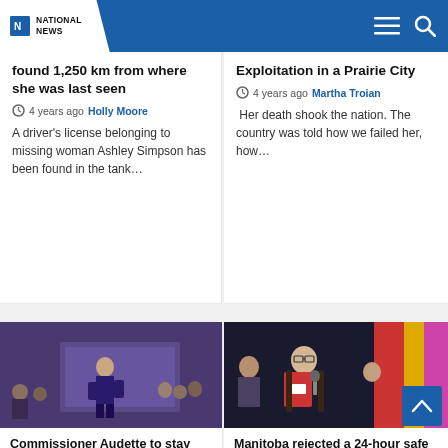NATIONAL NEWS
found 1,250 km from where she was last seen
4 years ago  Holly Moore
A driver's license belonging to missing woman Ashley Simpson has been found in the tank…
Exploitation in a Prairie City
4 years ago  Martha Troian
Her death shook the nation. The country was told how we failed her, how…
[Figure (photo): Person standing in front of a decorative quilt backdrop at an indoor event]
Commissioner Audette to stay with national inquiry
4 years ago  APTN National News
[Figure (photo): Young woman with glasses speaking into a microphone at panel discussion with colorful backdrop]
Manitoba rejected a 24-hour safe place for LGBTQS2, inquiry told
5 years ago  Kathleen